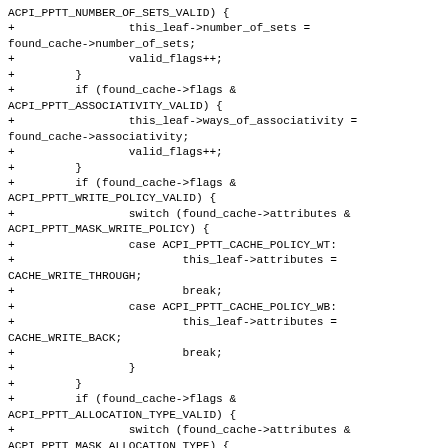ACPI_PPTT_NUMBER_OF_SETS_VALID) {
+                 this_leaf->number_of_sets =
found_cache->number_of_sets;
+                 valid_flags++;
+         }
+         if (found_cache->flags &
ACPI_PPTT_ASSOCIATIVITY_VALID) {
+                 this_leaf->ways_of_associativity =
found_cache->associativity;
+                 valid_flags++;
+         }
+         if (found_cache->flags &
ACPI_PPTT_WRITE_POLICY_VALID) {
+                 switch (found_cache->attributes &
ACPI_PPTT_MASK_WRITE_POLICY) {
+                 case ACPI_PPTT_CACHE_POLICY_WT:
+                         this_leaf->attributes =
CACHE_WRITE_THROUGH;
+                         break;
+                 case ACPI_PPTT_CACHE_POLICY_WB:
+                         this_leaf->attributes =
CACHE_WRITE_BACK;
+                         break;
+                 }
+         }
+         if (found_cache->flags &
ACPI_PPTT_ALLOCATION_TYPE_VALID) {
+                 switch (found_cache->attributes &
ACPI_PPTT_MASK_ALLOCATION_TYPE) {
+                 case
ACPI_PPTT_CACHE_READ_ALLOCATE: